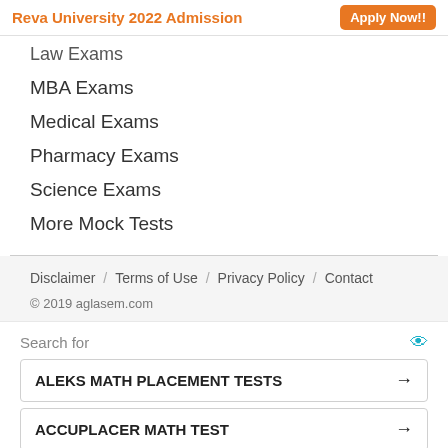[Figure (other): Reva University 2022 Admission advertisement banner with orange Apply Now!! button]
Law Exams
MBA Exams
Medical Exams
Pharmacy Exams
Science Exams
More Mock Tests
Disclaimer  /  Terms of Use  /  Privacy Policy  /  Contact
© 2019 aglasem.com
[Figure (other): Yahoo Search sponsored ad section with Search for label, eye icon, ALEKS MATH PLACEMENT TESTS result box with arrow, ACCUPLACER MATH TEST result box with arrow, Yahoo! Search | Sponsored label with icon]